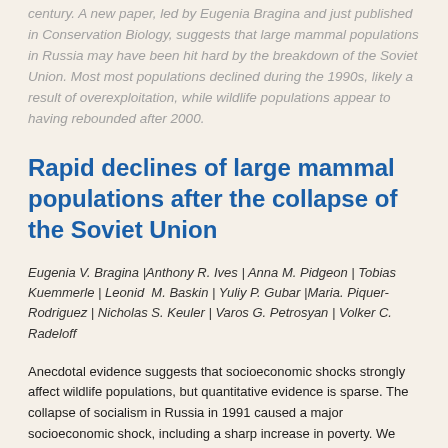century. A new paper, led by Eugenia Bragina and just published in Conservation Biology, suggests that large mammal populations in Russia may have been hit hard by the breakdown of the Soviet Union. Most most populations declined during the 1990s, likely a result of overexploitation, while wildlife populations appear to having rebounded after 2000.
Rapid declines of large mammal populations after the collapse of the Soviet Union
Eugenia V. Bragina |Anthony R. Ives | Anna M. Pidgeon | Tobias Kuemmerle | Leonid M. Baskin | Yuliy P. Gubar |Maria. Piquer-Rodriguez | Nicholas S. Keuler | Varos G. Petrosyan | Volker C. Radeloff
Anecdotal evidence suggests that socioeconomic shocks strongly affect wildlife populations, but quantitative evidence is sparse. The collapse of socialism in Russia in 1991 caused a major socioeconomic shock, including a sharp increase in poverty. We analyzed population trends of 8 large mammals in Russia from 1981 to 2010 (i.e., before and after the collapse). We hypothesized that the collapse would first cause population declines, primarily due to overexploitation, and then that the recovery of the economy